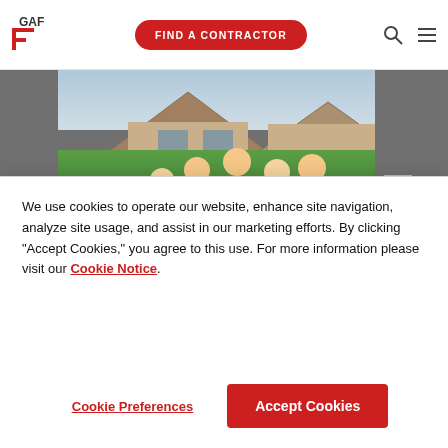GAF — Find a Contractor
[Figure (photo): Family of five standing in front of a brick house with green lawn. Red banner below with text: 'A Company Committed to Excellence through Integrity, Knowledge, & Teamwork'. Master Elite badge and star logo visible. Small Master Elite label in red on image.]
KW Billman Roofing LLC
We use cookies to operate our website, enhance site navigation, analyze site usage, and assist in our marketing efforts. By clicking "Accept Cookies," you agree to this use. For more information please visit our Cookie Notice.
Cookie Preferences | Accept Cookies